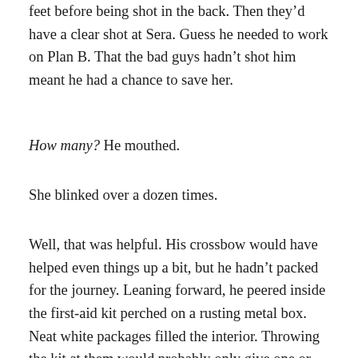feet before being shot in the back. Then they'd have a clear shot at Sera. Guess he needed to work on Plan B. That the bad guys hadn't shot him meant he had a chance to save her.
How many? He mouthed.
She blinked over a dozen times.
Well, that was helpful. His crossbow would have helped even things up a bit, but he hadn't packed for the journey. Leaning forward, he peered inside the first-aid kit perched on a rusting metal box. Neat white packages filled the interior. Throwing the kit at them would probably only give one or two a paper cut. Not exactly the impact he wanted. Still… He shifted his body, angling it so his torso blocked his hands from the bad guys' view.